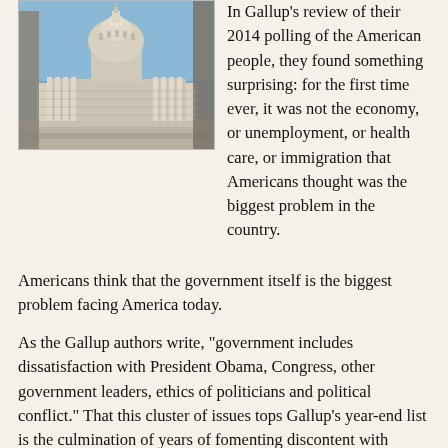[Figure (photo): Photo of the US Capitol building dome and columns against a blue sky]
In Gallup's review of their 2014 polling of the American people, they found something surprising: for the first time ever, it was not the economy, or unemployment, or health care, or immigration that Americans thought was the biggest problem in the country.
Americans think that the government itself is the biggest problem facing America today.
As the Gallup authors write, "government includes dissatisfaction with President Obama, Congress, other government leaders, ethics of politicians and political conflict." That this cluster of issues tops Gallup's year-end list is the culmination of years of fomenting discontent with government. It's risen from the single digits to the mid-teens and, in for the first time ever in 2014, government was the number one problem Americans think is plaguing America, as the number one issue for 18% of Americans.